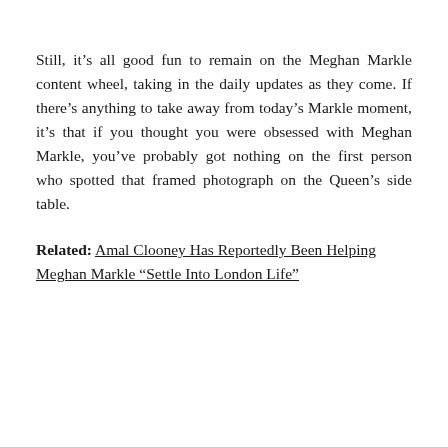Still, it's all good fun to remain on the Meghan Markle content wheel, taking in the daily updates as they come. If there's anything to take away from today's Markle moment, it's that if you thought you were obsessed with Meghan Markle, you've probably got nothing on the first person who spotted that framed photograph on the Queen's side table.
Related: Amal Clooney Has Reportedly Been Helping Meghan Markle “Settle Into London Life”